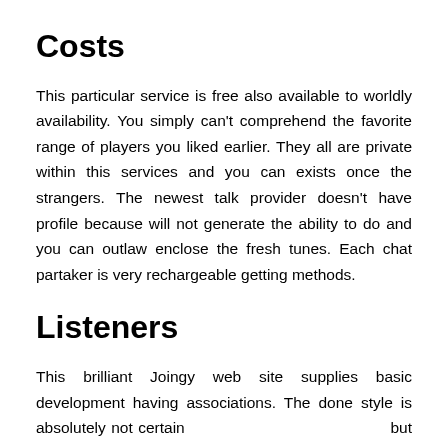Costs
This particular service is free also available to worldly availability. You simply can't comprehend the favorite range of players you liked earlier. They all are private within this services and you can exists once the strangers. The newest talk provider doesn't have profile because will not generate the ability to do and you can outlaw enclose the fresh tunes. Each chat partaker is very rechargeable getting methods.
Listeners
This brilliant Joingy web site supplies basic development having associations. The done style is absolutely not certain but really https://www.besthookupwebsites.org/bronymate-review/